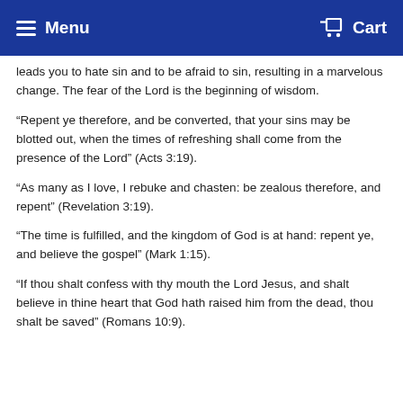Menu  Cart
leads you to hate sin and to be afraid to sin, resulting in a marvelous change. The fear of the Lord is the beginning of wisdom.
“Repent ye therefore, and be converted, that your sins may be blotted out, when the times of refreshing shall come from the presence of the Lord” (Acts 3:19).
“As many as I love, I rebuke and chasten: be zealous therefore, and repent” (Revelation 3:19).
“The time is fulfilled, and the kingdom of God is at hand: repent ye, and believe the gospel” (Mark 1:15).
“If thou shalt confess with thy mouth the Lord Jesus, and shalt believe in thine heart that God hath raised him from the dead, thou shalt be saved” (Romans 10:9).